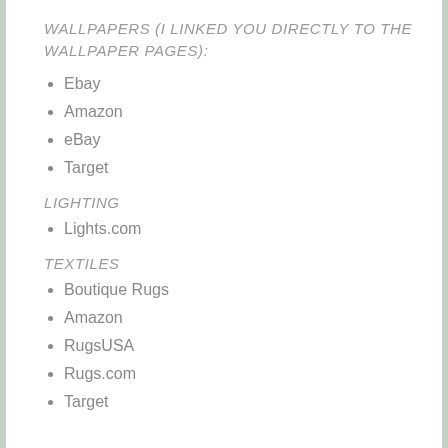WALLPAPERS (I LINKED YOU DIRECTLY TO THE WALLPAPER PAGES):
Ebay
Amazon
eBay
Target
LIGHTING
Lights.com
TEXTILES
Boutique Rugs
Amazon
RugsUSA
Rugs.com
Target